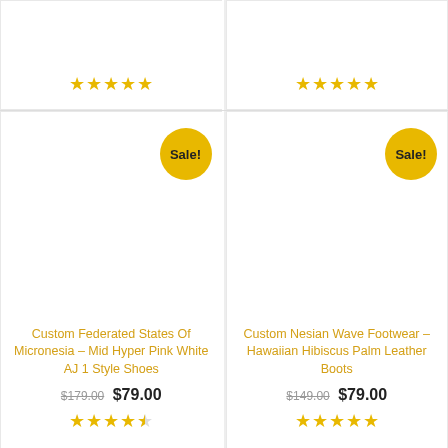[Figure (screenshot): Top portion of two e-commerce product cards cut off at top, showing gold star ratings]
Sale!
Custom Federated States Of Micronesia – Mid Hyper Pink White AJ 1 Style Shoes
$179.00 $79.00
[Figure (illustration): 4.5 gold star rating]
Sale!
Custom Nesian Wave Footwear – Hawaiian Hibiscus Palm Leather Boots
$149.00 $79.00
[Figure (illustration): 5 gold star rating]